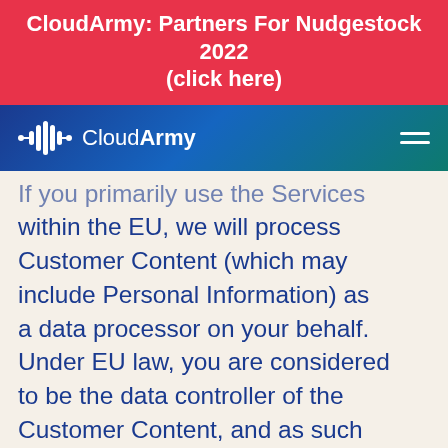CloudArmy: Partners For Nudgestock 2022 (click here)
[Figure (logo): CloudArmy logo with waveform/bar icon in white on blue-green gradient navigation bar]
If you primarily use the Services within the EU, we will process Customer Content (which may include Personal Information) as a data processor on your behalf. Under EU law, you are considered to be the data controller of the Customer Content, and as such you are responsible for complying with applicable data protection laws in respect of the processing